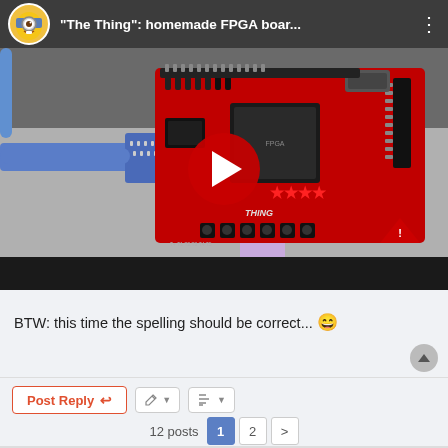[Figure (screenshot): YouTube video embed showing a homemade FPGA board with a red PCB connected to a blue VGA connector and purple ethernet/USB cable. The video title shows "The Thing": homemade FPGA boar... with a play button overlay.]
BTW: this time the spelling should be correct... 😄
Post Reply | toolbar buttons
12 posts  1  2  >